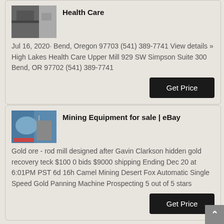[Figure (photo): Small thumbnail image showing mining or industrial equipment, dark tones]
Health Care
Jul 16, 2020· Bend, Oregon 97703 (541) 389-7741 View details » High Lakes Health Care Upper Mill 929 SW Simpson Suite 300 Bend, OR 97702 (541) 389-7741
[Figure (photo): Thumbnail image of large mining equipment/machinery in an outdoor setting]
Mining Equipment for sale | eBay
Gold ore - rod mill designed after Gavin Clarkson hidden gold recovery teck $100 0 bids $9000 shipping Ending Dec 20 at 6:01PM PST 6d 16h Camel Mining Desert Fox Automatic Single Speed Gold Panning Machine Prospecting 5 out of 5 stars